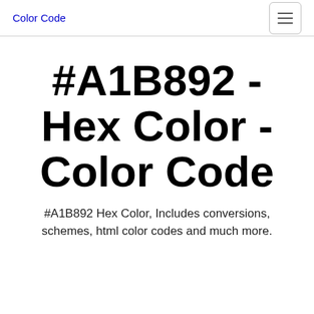Color Code
#A1B892 - Hex Color - Color Code
#A1B892 Hex Color, Includes conversions, schemes, html color codes and much more.